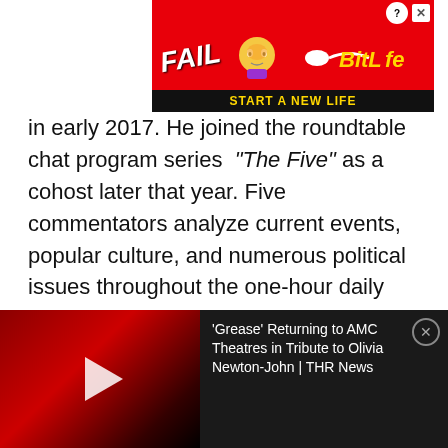[Figure (other): Advertisement banner for BitLife mobile game with 'FAIL' text, cartoon character, flames, and 'START A NEW LIFE' tagline on red background]
in early 2017. He joined the roundtable chat program series "The Five" as a cohost later that year. Five commentators analyze current events, popular culture, and numerous political issues throughout the one-hour daily program. Greg Gutfeld and Dana Perino, as well as a rotating array of additional guest co-hosts, join Watters on the show.
Earning from his Book
[Figure (screenshot): Video player overlay showing 'Grease Returning to AMC Theatres in Tribute to Olivia Newton-John | THR News' with play button on dark/red background]